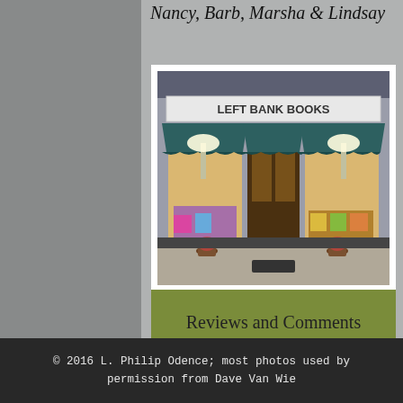Nancy, Barb, Marsha & Lindsay
[Figure (photo): Storefront of Left Bank Books bookstore with teal awnings and warm interior lighting, flower pots flanking the entrance]
Reviews and Comments
KE US
[Figure (logo): Facebook icon - white f on blue rounded square background]
CONTACT US
© 2016 L. Philip Odence; most photos used by permission from Dave Van Wie